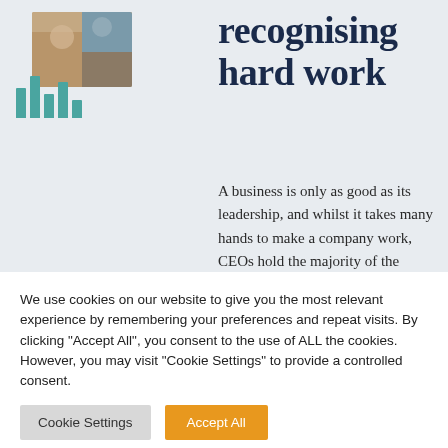[Figure (illustration): Company logo with a photo of people working and teal vertical bar chart bars below]
recognising hard work
A business is only as good as its leadership, and whilst it takes many hands to make a company work, CEOs hold the majority of the responsibility and
We use cookies on our website to give you the most relevant experience by remembering your preferences and repeat visits. By clicking "Accept All", you consent to the use of ALL the cookies. However, you may visit "Cookie Settings" to provide a controlled consent.